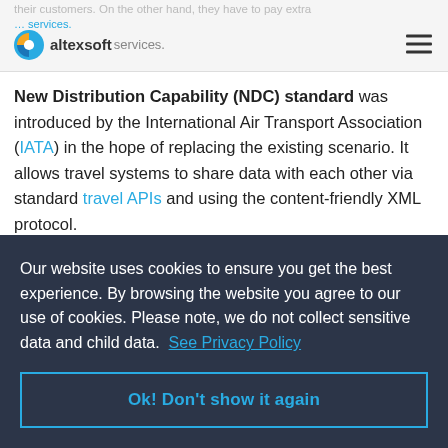their customers. On the other hand, they have to pay extra … services. | altexsoft
New Distribution Capability (NDC) standard was introduced by the International Air Transport Association (IATA) in the hope of replacing the existing scenario. It allows travel systems to share data with each other via standard travel APIs and using the content-friendly XML protocol.

NDC enables…
Our website uses cookies to ensure you get the best experience. By browsing the website you agree to our use of cookies. Please note, we do not collect sensitive data and child data. See Privacy Policy | Ok! Don't show it again